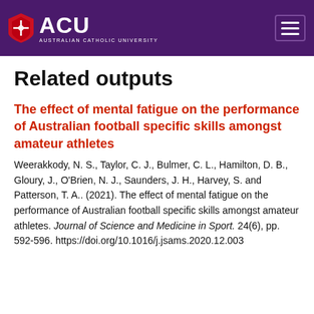ACU — Australian Catholic University
Related outputs
The effect of mental fatigue on the performance of Australian football specific skills amongst amateur athletes
Weerakkody, N. S., Taylor, C. J., Bulmer, C. L., Hamilton, D. B., Gloury, J., O'Brien, N. J., Saunders, J. H., Harvey, S. and Patterson, T. A.. (2021). The effect of mental fatigue on the performance of Australian football specific skills amongst amateur athletes. Journal of Science and Medicine in Sport. 24(6), pp. 592-596. https://doi.org/10.1016/j.jsams.2020.12.003